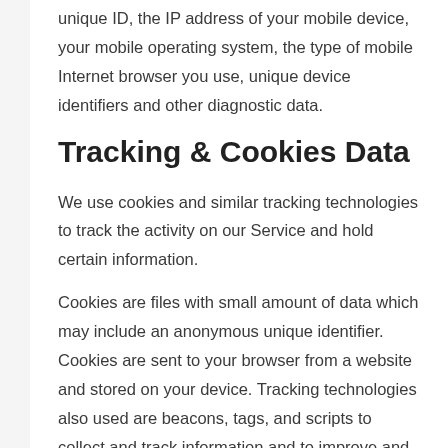unique ID, the IP address of your mobile device, your mobile operating system, the type of mobile Internet browser you use, unique device identifiers and other diagnostic data.
Tracking & Cookies Data
We use cookies and similar tracking technologies to track the activity on our Service and hold certain information.
Cookies are files with small amount of data which may include an anonymous unique identifier. Cookies are sent to your browser from a website and stored on your device. Tracking technologies also used are beacons, tags, and scripts to collect and track information and to improve and analyze our Service.
You can instruct your browser to refuse all cookies or to indicate when a cookie is being sent. However, if you do